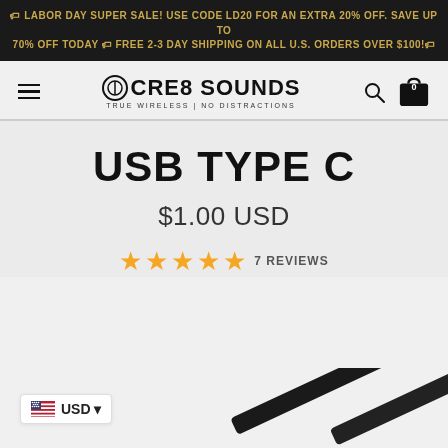🏷 LABOR DAY SUPER SALE! USE CODE LD20 FOR AN EXTRA 20% OFF. SAVE UP TO 70% OFF TODAY 🏷 FREE 2-3 DAY SHIPPING ON ALL U.S. ORDERS OVER $100!🏷
[Figure (logo): CRE8 SOUNDS logo with circle icon and tagline TRUE WIRELESS | NO DISTRACTIONS]
USB TYPE C
$1.00 USD
★★★★★ 7 REVIEWS
USD (currency selector with US flag)
[Figure (photo): Partial view of a dark USB Type C cable against light background]